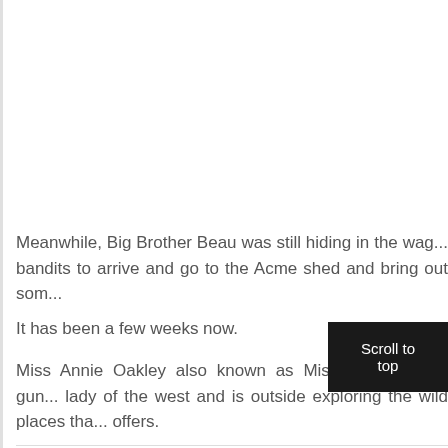Meanwhile, Big Brother Beau was still hiding in the wag... bandits to arrive and go to the Acme shed and bring out som...
It has been a few weeks now.
Miss Annie Oakley also known as Miss Bridget, is a gun... lady of the west and is outside exploring the wild places tha... offers.